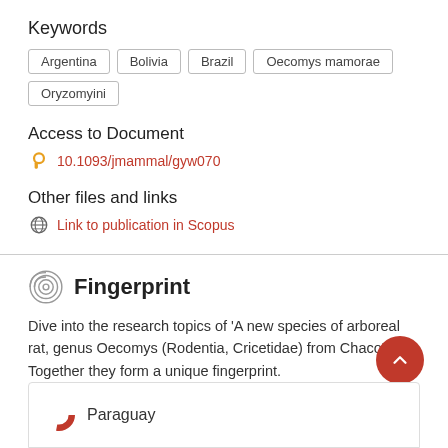Keywords
Argentina
Bolivia
Brazil
Oecomys mamorae
Oryzomyini
Access to Document
10.1093/jmammal/gyw070
Other files and links
Link to publication in Scopus
Fingerprint
Dive into the research topics of 'A new species of arboreal rat, genus Oecomys (Rodentia, Cricetidae) from Chaco'. Together they form a unique fingerprint.
Paraguay